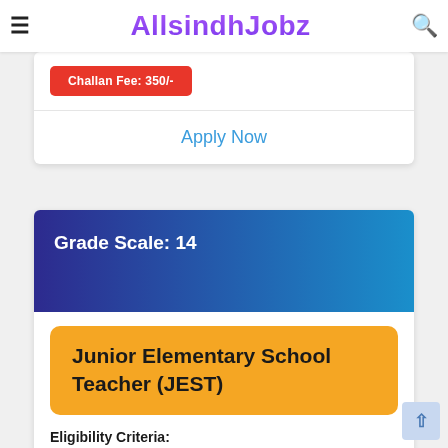AllsindhJobz
Challan Fee: 350/-
Apply Now
Grade Scale: 14
Junior Elementary School Teacher (JEST)
Eligibility Criteria: